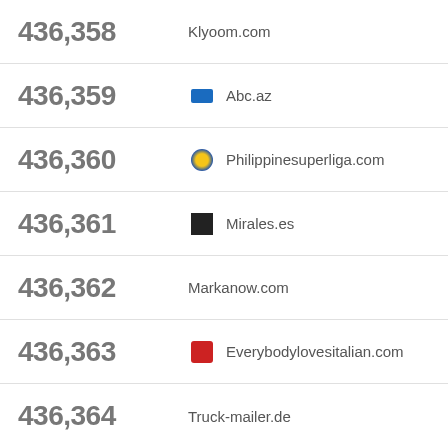436,358  Klyoom.com
436,359  Abc.az
436,360  Philippinesuperliga.com
436,361  Mirales.es
436,362  Markanow.com
436,363  Everybodylovesitalian.com
436,364  Truck-mailer.de